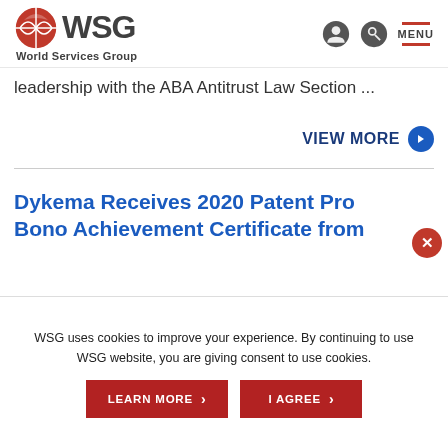WSG World Services Group
leadership with the ABA Antitrust Law Section ...
VIEW MORE
Dykema Receives 2020 Patent Pro Bono Achievement Certificate from
WSG uses cookies to improve your experience. By continuing to use WSG website, you are giving consent to use cookies.
LEARN MORE
I AGREE